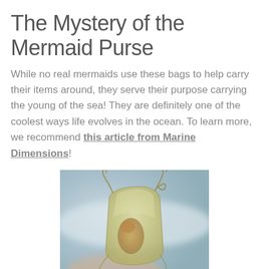The Mystery of the Mermaid Purse
While no real mermaids use these bags to help carry their items around, they serve their purpose carrying the young of the sea! They are definitely one of the coolest ways life evolves in the ocean. To learn more, we recommend this article from Marine Dimensions!
[Figure (photo): Close-up photo of a mermaid's purse (shark or ray egg case) — a translucent yellowish-green rectangular pouch with curly tendrils at the corners, with a blurry teal/blue background and what appears to be a small embryo visible inside.]